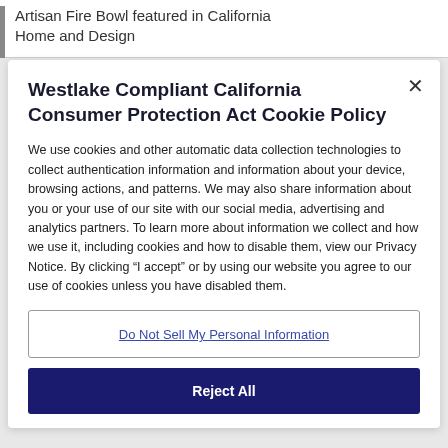Artisan Fire Bowl featured in California Home and Design
Westlake Compliant California Consumer Protection Act Cookie Policy
We use cookies and other automatic data collection technologies to collect authentication information and information about your device, browsing actions, and patterns. We may also share information about you or your use of our site with our social media, advertising and analytics partners. To learn more about information we collect and how we use it, including cookies and how to disable them, view our Privacy Notice. By clicking “I accept” or by using our website you agree to our use of cookies unless you have disabled them.
Do Not Sell My Personal Information
Reject All